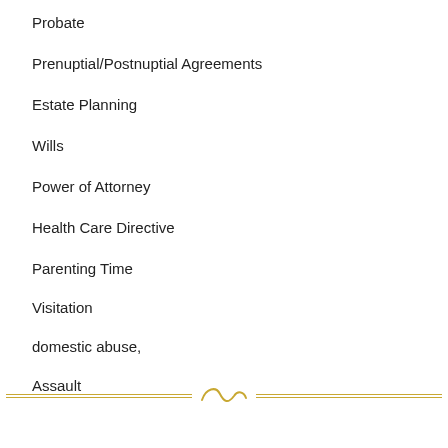Probate
Prenuptial/Postnuptial Agreements
Estate Planning
Wills
Power of Attorney
Health Care Directive
Parenting Time
Visitation
domestic abuse,
Assault